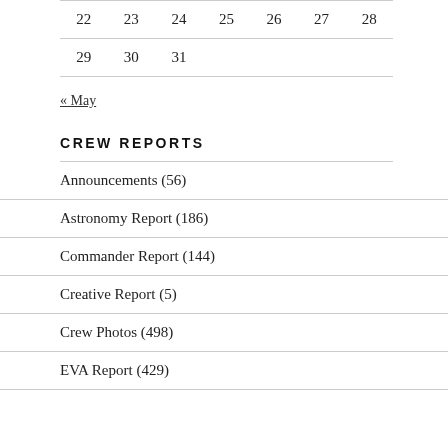| 22 | 23 | 24 | 25 | 26 | 27 | 28 |
| 29 | 30 | 31 |  |  |  |  |
« May
CREW REPORTS
Announcements (56)
Astronomy Report (186)
Commander Report (144)
Creative Report (5)
Crew Photos (498)
EVA Report (429)